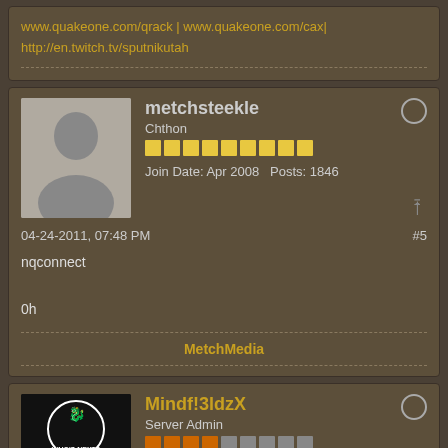www.quakeone.com/qrack | www.quakeone.com/cax|
http://en.twitch.tv/sputnikutah
metchsteekle
Chthon
Join Date: Apr 2008  Posts: 1846
04-24-2011, 07:48 PM
#5
nqconnect
0h
MetchMedia
Mindf!3ldzX
Server Admin